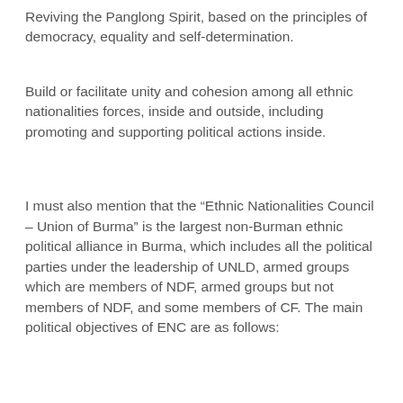Reviving the Panglong Spirit, based on the principles of democracy, equality and self-determination.
Build or facilitate unity and cohesion among all ethnic nationalities forces, inside and outside, including promoting and supporting political actions inside.
I must also mention that the “Ethnic Nationalities Council – Union of Burma” is the largest non-Burman ethnic political alliance in Burma, which includes all the political parties under the leadership of UNLD, armed groups which are members of NDF, armed groups but not members of NDF, and some members of CF. The main political objectives of ENC are as follows: